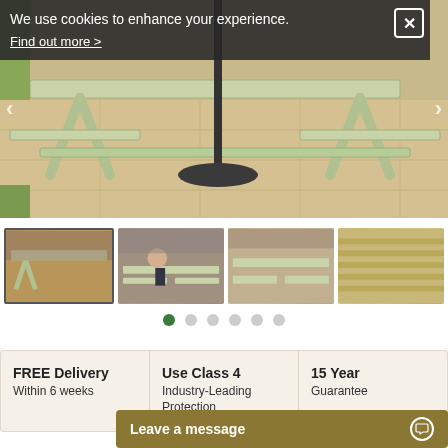[Figure (photo): Main product photo showing a wooden picnic bench/table on a patio or courtyard, with umbrella stand visible]
We use cookies to enhance your experience.
Find out more >
[Figure (photo): Thumbnail 1: Picnic benches in outdoor setting with brick wall]
[Figure (photo): Thumbnail 2: Person sitting on picnic bench outside]
[Figure (photo): Thumbnail 3: Picnic bench in outdoor setting]
[Figure (photo): Thumbnail 4: Close-up of wooden bench slats]
FREE Delivery
Within 6 weeks
Use Class 4
Industry-Leading Protection
15 Year
Guarantee
Leave a message